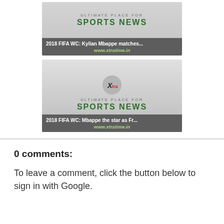[Figure (screenshot): Sports news card 1: 'ULTIMATE PLACE FOR SPORTS NEWS' with headline '2018 FIFA WC: Kylian Mbappe matches...' and url www.xtratime.in]
[Figure (screenshot): Sports news card 2 with Xtratime logo circle, 'ULTIMATE PLACE FOR SPORTS NEWS', headline '2018 FIFA WC: Mbappe the star as Fr...' and url www.xtratime.in]
0 comments:
To leave a comment, click the button below to sign in with Google.